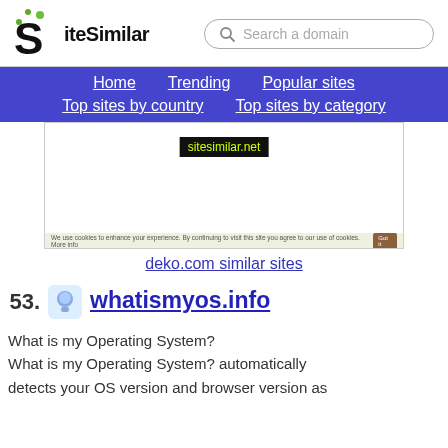[Figure (logo): SiteSimilar logo with green dot-accented S letter and site name]
Search a domain
Home  Trending  Popular sites  Top sites by country  Top sites by category
[Figure (screenshot): Screenshot preview of sitesimilar.net website]
deko.com similar sites
53.
[Figure (logo): whatismyos.info favicon icon]
whatismyos.info
What is my Operating System?
What is my Operating System? automatically detects your OS version and browser version as